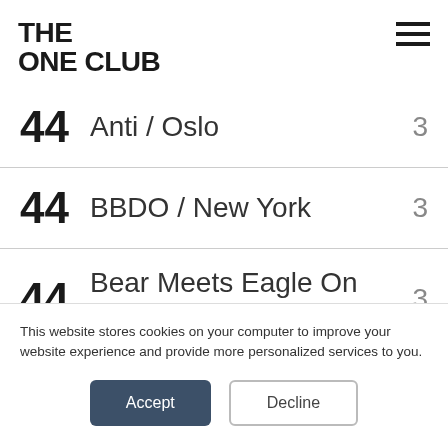THE ONE CLUB
44   Anti / Oslo   3
44   BBDO / New York   3
44   Bear Meets Eagle On Fire   3
This website stores cookies on your computer to improve your website experience and provide more personalized services to you.